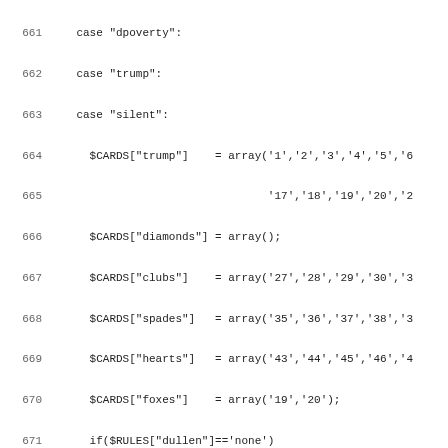Source code listing lines 661-692, PHP card game logic
661   case "dpoverty":
662   case "trump":
663   case "silent":
664     $CARDS["trump"]    = array('1','2','3','4','5','6...
665                                 '17','18','19','20','2...
666     $CARDS["diamonds"] = array();
667     $CARDS["clubs"]    = array('27','28','29','30','3...
668     $CARDS["spades"]   = array('35','36','37','38','3...
669     $CARDS["hearts"]   = array('43','44','45','46','4...
670     $CARDS["foxes"]    = array('19','20');
671     if($RULES["dullen"]=='none')
672       {
673         $CARDS["trump"]   = array('3','4','5','6','7...
674                                 '17','18','19','20...
675         $CARDS["hearts"]  = array('43','44','1','2',...
676       }
677     /* do we need to reorder for Schweinchen? need to...
678     if($RULES['schweinchen']=='both'&& $GAME['schwein...
679       {
680         /* find the fox and put them at the top of th...
681         foreach(array('19','20') as $fox)
682           {
683             /* search for fox */
684             $trump = $CARDS['trump'];
685             $key = array_keys($trump, $fox);
686
687             /* reorder */
688             $foxa = array();
689             $foxa[]=$trump[$key[0]];
690             unset($trump[$key[0]]);
691             $trump = array_merge($foxa,$trump);
692             $CARDS['trump'] = $trump;